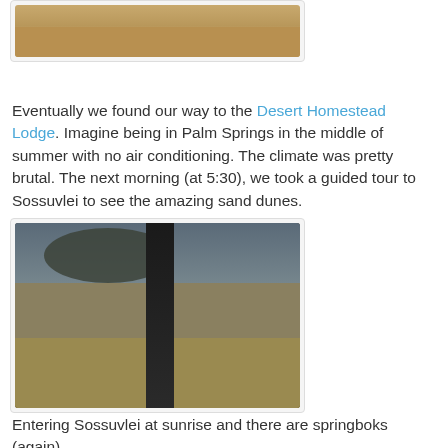[Figure (photo): Partial photo of a rocky desert landscape, cropped at top of page]
Eventually we found our way to the Desert Homestead Lodge. Imagine being in Palm Springs in the middle of summer with no air conditioning. The climate was pretty brutal. The next morning (at 5:30), we took a guided tour to Sossuvlei to see the amazing sand dunes.
[Figure (photo): Photo of Sossuvlei at sunrise showing a large dark tree trunk in the foreground, dry grassland, acacia trees, and springboks in the background]
Entering Sossuvlei at sunrise and there are springboks (again)